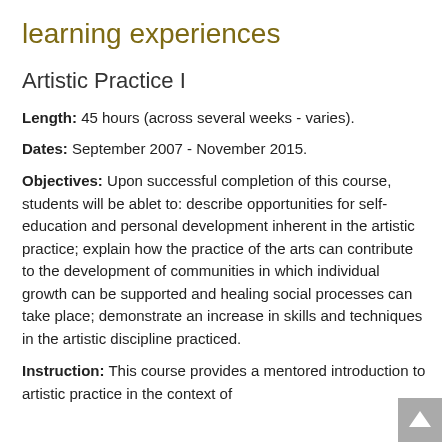learning experiences
Artistic Practice I
Length:  45 hours (across several weeks - varies).
Dates:  September 2007 - November 2015.
Objectives:  Upon successful completion of this course, students will be ablet to: describe opportunities for self-education and personal development inherent in the artistic practice; explain how the practice of the arts can contribute to the development of communities in which individual growth can be supported and healing social processes can take place; demonstrate an increase in skills and techniques in the artistic discipline practiced.
Instruction:  This course provides a mentored introduction to artistic practice in the context of